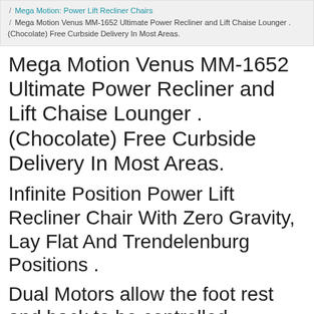Mega Motion: Power Lift Recliner Chairs / Mega Motion Venus MM-1652 Ultimate Power Recliner and Lift Chaise Lounger . (Chocolate) Free Curbside Delivery In Most Areas.
Mega Motion Venus MM-1652 Ultimate Power Recliner and Lift Chaise Lounger . (Chocolate) Free Curbside Delivery In Most Areas.
Infinite Position Power Lift Recliner Chair With Zero Gravity, Lay Flat And Trendelenburg Positions .
Dual Motors allow the foot rest and back to be controlled independently.
Weight Capacity 375 Lbs.